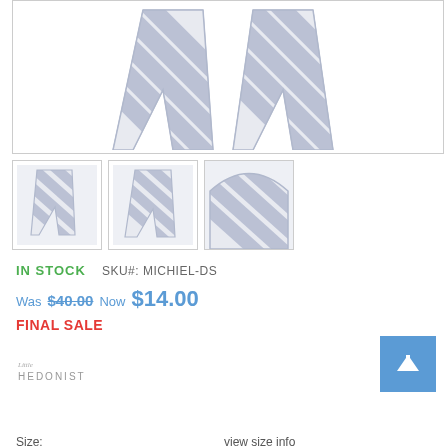[Figure (photo): Main product image showing blue/grey diagonal striped baby pants, viewed from front, displayed on white background]
[Figure (photo): Thumbnail 1: front view of striped baby pants]
[Figure (photo): Thumbnail 2: back view of striped baby pants]
[Figure (photo): Thumbnail 3: close-up waistband of striped baby pants]
IN STOCK   SKU#: MICHIEL-DS
Was $40.00 Now $14.00
FINAL SALE
[Figure (logo): Little Hedonist brand logo]
Size:
view size info